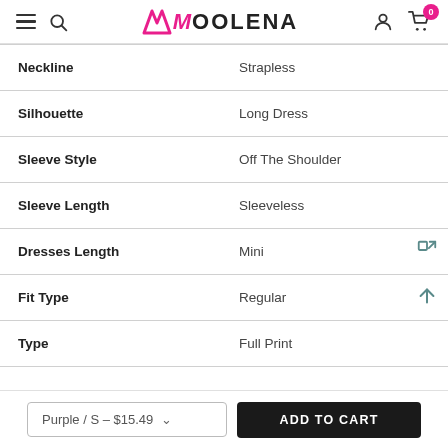Moolena — navigation header with hamburger menu, search, logo, account and cart icons
| Attribute | Value |
| --- | --- |
| Neckline | Strapless |
| Silhouette | Long Dress |
| Sleeve Style | Off The Shoulder |
| Sleeve Length | Sleeveless |
| Dresses Length | Mini |
| Fit Type | Regular |
| Type | Full Print |
Purple / S – $15.49   ADD TO CART